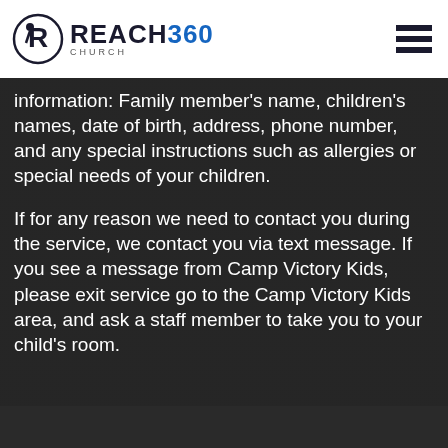[Figure (logo): Reach360 Church logo with circular R icon and hamburger menu icon in top right]
information: Family member's name, children's names, date of birth, address, phone number, and any special instructions such as allergies or special needs of your children.
If for any reason we need to contact you during the service, we contact you via text message. If you see a message from Camp Victory Kids, please exit service go to the Camp Victory Kids area, and ask a staff member to take you to your child's room.